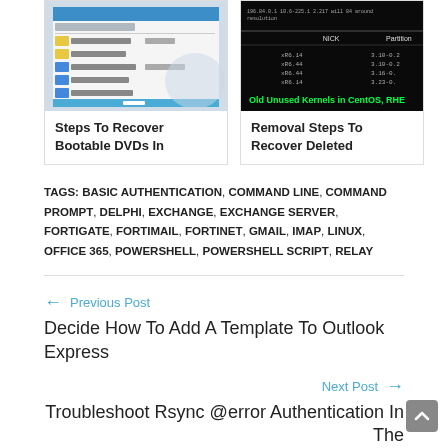[Figure (screenshot): Screenshot of Windows file manager showing bootable DVD files]
Steps To Recover Bootable DVDs In
[Figure (screenshot): Terminal screenshot showing Old Unused Kernels in CentOS, RHEL]
Removal Steps To Recover Deleted
TAGS: BASIC AUTHENTICATION, COMMAND LINE, COMMAND PROMPT, DELPHI, EXCHANGE, EXCHANGE SERVER, FORTIGATE, FORTIMAIL, FORTINET, GMAIL, IMAP, LINUX, OFFICE 365, POWERSHELL, POWERSHELL SCRIPT, RELAY
← Previous Post
Decide How To Add A Template To Outlook Express
Next Post →
Troubleshooting Rsync @error Authentication In The...